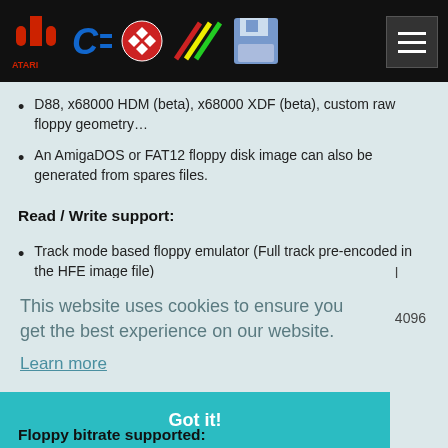Atari C= [soccer ball] [rainbow stripes] [floppy disk] [menu button]
D88, x68000 HDM (beta), x68000 XDF (beta), custom raw floppy geometry…
An AmigaDOS or FAT12 floppy disk image can also be generated from spares files.
Read / Write support:
Track mode based floppy emulator (Full track pre-encoded in the HFE image file)
This website uses cookies to ensure you get the best experience on our website.
Learn more
Got it!
4096
Floppy bitrate supported: